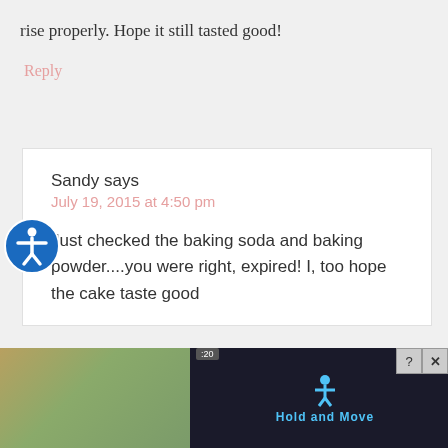rise properly. Hope it still tasted good!
Reply
Sandy says
July 19, 2015 at 4:50 pm
Just checked the baking soda and baking powder....you were right, expired! I, too hope the cake taste good
[Figure (screenshot): Advertisement overlay showing 'Hold and Move' app with dark background, photo of trees on left and right sides, and close/help buttons]